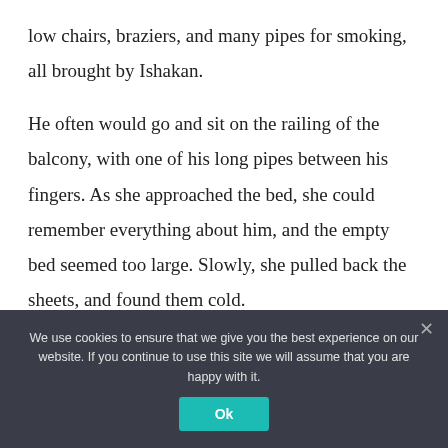low chairs, braziers, and many pipes for smoking, all brought by Ishakan.
He often would go and sit on the railing of the balcony, with one of his long pipes between his fingers. As she approached the bed, she could remember everything about him, and the empty bed seemed too large. Slowly, she pulled back the sheets, and found them cold.
We use cookies to ensure that we give you the best experience on our website. If you continue to use this site we will assume that you are happy with it.